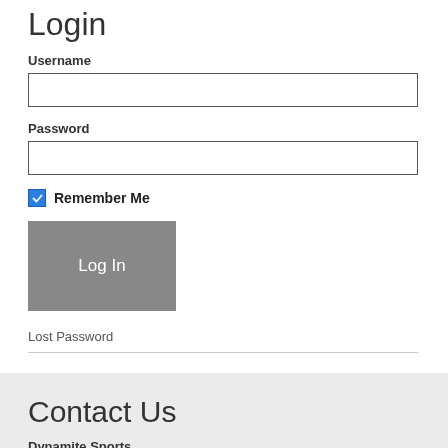Login
Username
Password
Remember Me
Log In
Lost Password
Contact Us
Dynamite Sports
Rick Wire, President